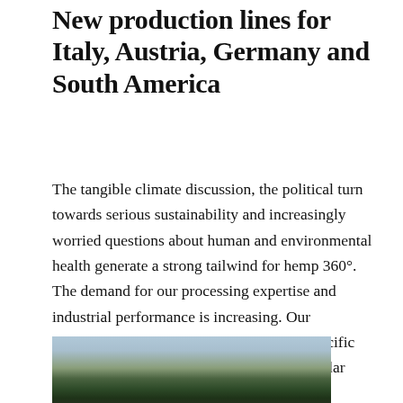New production lines for Italy, Austria, Germany and South America
The tangible climate discussion, the political turn towards serious sustainability and increasingly worried questions about human and environmental health generate a strong tailwind for hemp 360°. The demand for our processing expertise and industrial performance is increasing. Our cooperative also benefits from this with specific inquiries for own production lines and circular economy models in Northern Italy, Austria, Southern Germany and South America.
[Figure (photo): Outdoor landscape photo showing conifer trees silhouetted against a cloudy sky, with a field or clearing visible.]